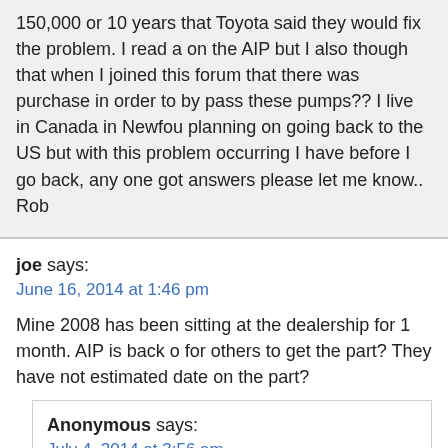150,000 or 10 years that Toyota said they would fix the problem. I read a on the AIP but I also though that when I joined this forum that there was purchase in order to by pass these pumps?? I live in Canada in Newfou planning on going back to the US but with this problem occurring I have before I go back, any one got answers please let me know.. Rob
joe says:
June 16, 2014 at 1:46 pm
Mine 2008 has been sitting at the dealership for 1 month. AIP is back o for others to get the part? They have not estimated date on the part?
Anonymous says:
July 4, 2014 at 3:56 am
Mine was estimated to be in one week but now it has been two so wh
Rob says:
August 31, 2014 at 5:57 am